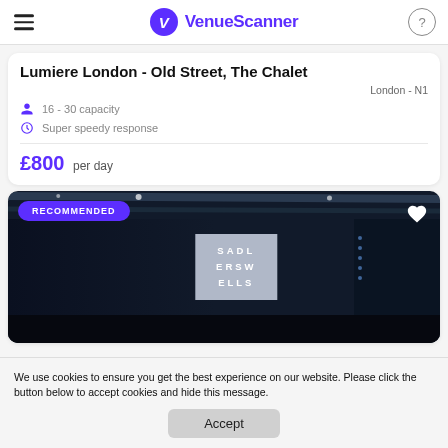VenueScanner
Lumiere London - Old Street, The Chalet
London - N1
16 - 30 capacity
Super speedy response
£800 per day
[Figure (photo): Dark theatre stage photo with a screen showing SADL ERSW ELLS (Sadler's Wells) in block letters, with stage lighting and blue dot lights in the background. A purple RECOMMENDED badge is in the top left corner and a heart icon in the top right.]
We use cookies to ensure you get the best experience on our website. Please click the button below to accept cookies and hide this message.
Accept